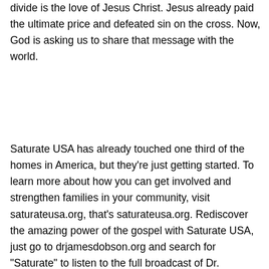divide is the love of Jesus Christ. Jesus already paid the ultimate price and defeated sin on the cross. Now, God is asking us to share that message with the world.
Saturate USA has already touched one third of the homes in America, but they're just getting started. To learn more about how you can get involved and strengthen families in your community, visit saturateusa.org, that's saturateusa.org. Rediscover the amazing power of the gospel with Saturate USA, just go to drjamesdobson.org and search for "Saturate" to listen to the full broadcast of Dr. Dobson's interview with Scott Baller right here on Family Talk. Just go to drjamesdobson.org and search for "Saturate" to listen to the full broadcast of Dr. Dobson's interview with